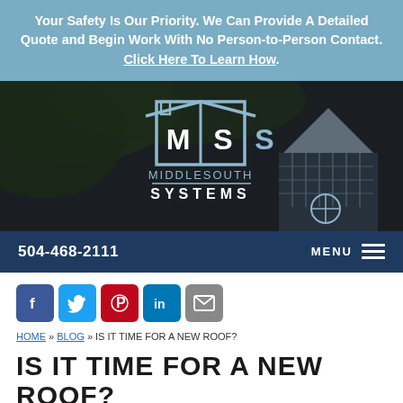Your Safety Is Our Priority. We Can Provide A Detailed Quote and Begin Work With No Person-to-Person Contact. Click Here To Learn How.
[Figure (logo): Middlesouth Systems logo on dark background with house/roof icon and company name]
504-468-2111   MENU
[Figure (other): Social media icons row: Facebook, Twitter, Pinterest, LinkedIn, Email]
HOME » BLOG » IS IT TIME FOR A NEW ROOF?
IS IT TIME FOR A NEW ROOF?